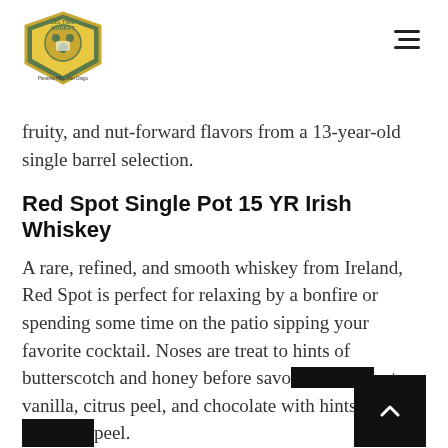Big Time Market & Liquor — Panamá Hills, San Diego
fruity, and nut-forward flavors from a 13-year-old single barrel selection.
Red Spot Single Pot 15 YR Irish Whiskey
A rare, refined, and smooth whiskey from Ireland, Red Spot is perfect for relaxing by a bonfire or spending some time on the patio sipping your favorite cocktail. Noses are treat to hints of butterscotch and honey before savoring sweet vanilla, citrus peel, and chocolate with hints of dried peel.
Alberta Premium Cask Strength Rye
Alberta Premium Cask Strength Rye is a surprisingly smooth take on a traditional whiskey. The combination of the smooth and spicy flavors makes a perfect cocktail during these hot summer days.